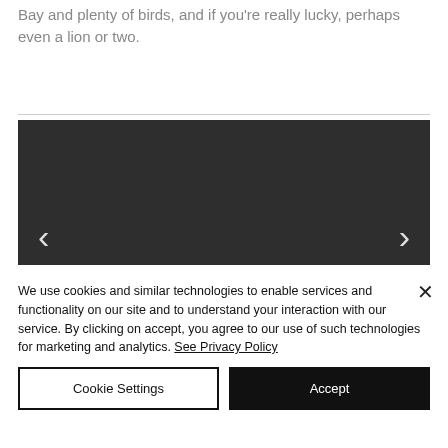Bay and plenty of birds, and if you're really lucky, perhaps even a lion or two.
[Figure (other): Dark image carousel/slideshow placeholder with left and right navigation arrows]
We use cookies and similar technologies to enable services and functionality on our site and to understand your interaction with our service. By clicking on accept, you agree to our use of such technologies for marketing and analytics. See Privacy Policy
Cookie Settings
Accept